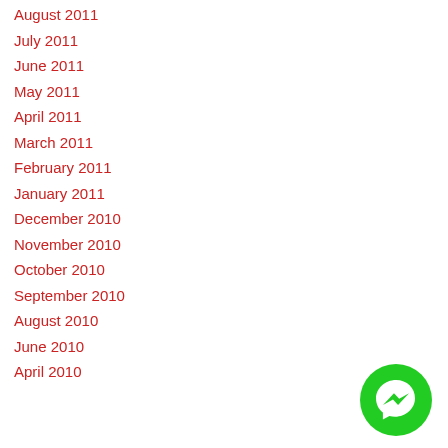August 2011
July 2011
June 2011
May 2011
April 2011
March 2011
February 2011
January 2011
December 2010
November 2010
October 2010
September 2010
August 2010
June 2010
April 2010
[Figure (illustration): Green circular Messenger chat button with white messenger icon, positioned at bottom right]